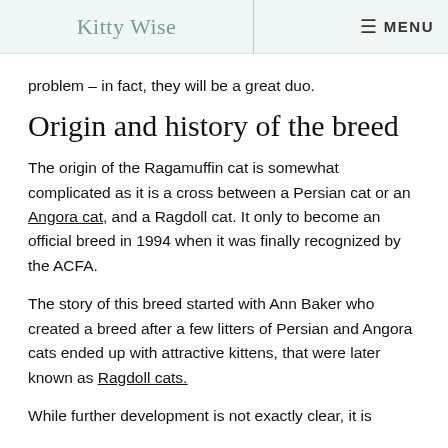Kitty Wise   MENU
problem – in fact, they will be a great duo.
Origin and history of the breed
The origin of the Ragamuffin cat is somewhat complicated as it is a cross between a Persian cat or an Angora cat, and a Ragdoll cat. It only to become an official breed in 1994 when it was finally recognized by the ACFA.
The story of this breed started with Ann Baker who created a breed after a few litters of Persian and Angora cats ended up with attractive kittens, that were later known as Ragdoll cats.
While further development is not exactly clear, it is